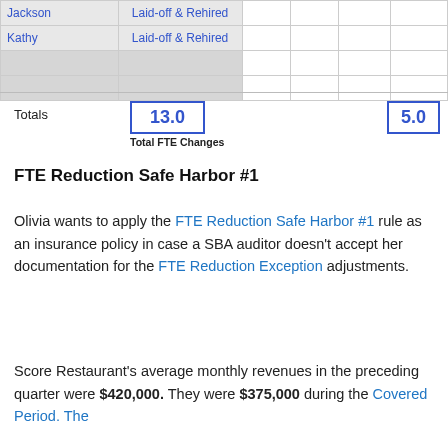| Name | Status |  |  |  |  |
| --- | --- | --- | --- | --- | --- |
| Jackson | Laid-off & Rehired |  |  |  |  |
| Kathy | Laid-off & Rehired |  |  |  |  |
|  |  |  |  |  |  |
|  |  |  |  |  |  |
Totals   13.0   Total FTE Changes   5.0
FTE Reduction Safe Harbor #1
Olivia wants to apply the FTE Reduction Safe Harbor #1 rule as an insurance policy in case a SBA auditor doesn't accept her documentation for the FTE Reduction Exception adjustments.
Score Restaurant's average monthly revenues in the preceding quarter were $420,000. They were $375,000 during the Covered Period. The